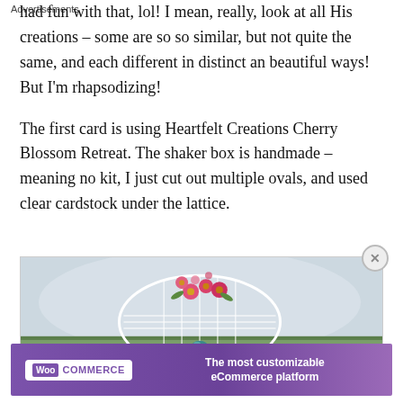had fun with that, lol! I mean, really, look at all His creations – some are so so similar, but not quite the same, and each different in distinct an beautiful ways! But I'm rhapsodizing!
The first card is using Heartfelt Creations Cherry Blossom Retreat. The shaker box is handmade – meaning no kit, I just cut out multiple ovals, and used clear cardstock under the lattice.
[Figure (photo): Photo of a handmade card featuring pink cherry blossom flowers on a white lattice/oval shaker box design with a green striped background element.]
Advertisements
[Figure (other): WooCommerce advertisement banner: purple background with WooCommerce logo on left and text 'The most customizable eCommerce platform' on right.]